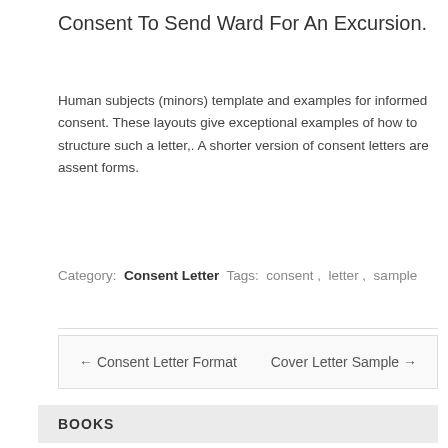Consent To Send Ward For An Excursion.
Human subjects (minors) template and examples for informed consent. These layouts give exceptional examples of how to structure such a letter,. A shorter version of consent letters are assent forms.
Category: Consent Letter Tags: consent, letter, sample
← Consent Letter Format   Cover Letter Sample →
BOOKS
It Ends with Us
All Your Perfects